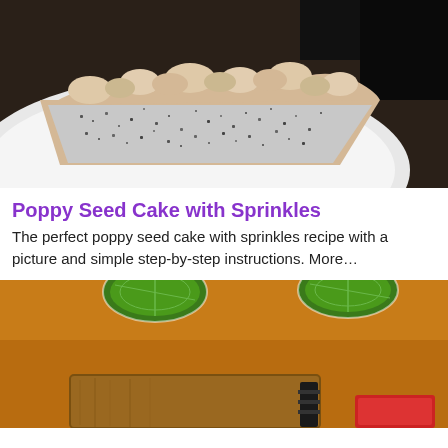[Figure (photo): A slice of poppy seed cake with crumble topping on a white plate, viewed close-up on a dark surface]
Poppy Seed Cake with Sprinkles
The perfect poppy seed cake with sprinkles recipe with a picture and simple step-by-step instructions. More…
[Figure (photo): A golden-orange background with lime wedge garnishes and a wooden cutting board with a red item, part of a food preparation scene]